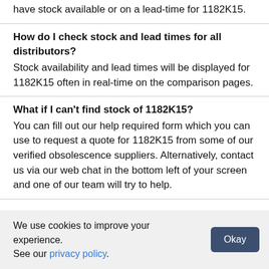have stock available or on a lead-time for 1182K15.
How do I check stock and lead times for all distributors?
Stock availability and lead times will be displayed for 1182K15 often in real-time on the comparison pages.
What if I can't find stock of 1182K15?
You can fill out our help required form which you can use to request a quote for 1182K15 from some of our verified obsolescence suppliers. Alternatively, contact us via our web chat in the bottom left of your screen and one of our team will try to help.
[Figure (infographic): Social media icons row: Facebook, LinkedIn, Twitter, YouTube, Instagram]
We use cookies to improve your experience. See our privacy policy.